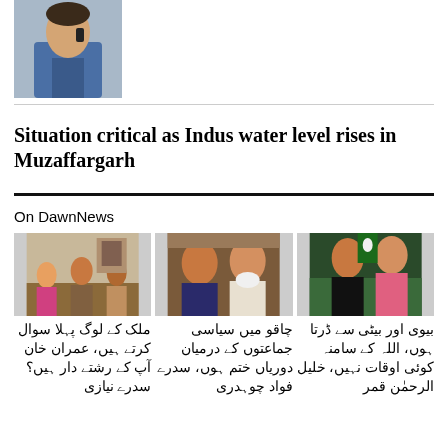[Figure (photo): A man holding a phone, wearing a blue vest, photo in upper left]
Situation critical as Indus water level rises in Muzaffargarh
On DawnNews
[Figure (photo): Three people sitting on sofas in a living room setting]
[Figure (photo): Two men speaking, one in dark suit, one older with white beard]
[Figure (photo): Two people standing in a garden, one man in black, one woman]
بیوی اور بیٹی سے ڈرتا ہوں، اللہ کے سامنہ کوئی اوقات نہیں، خلیل الرحمٰن قمر
چاقو میں سیاسی جماعتوں کے درمیان دوریاں ختم ہوں، سدرے فواد چوہدری
ملک کے لوگ پہلا سوال کرتے ہیں، عمران خان آپ کے رشتے دار ہیں؟ سدرے نیازی